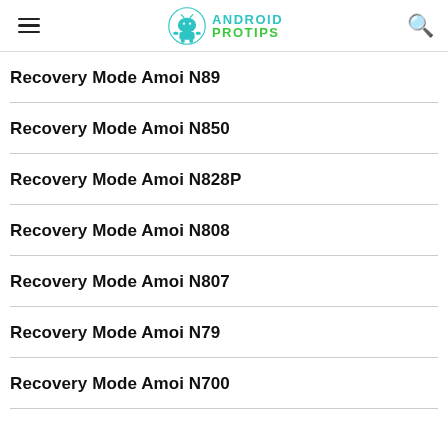ANDROID PROTIPS
Recovery Mode Amoi N89
Recovery Mode Amoi N850
Recovery Mode Amoi N828P
Recovery Mode Amoi N808
Recovery Mode Amoi N807
Recovery Mode Amoi N79
Recovery Mode Amoi N700